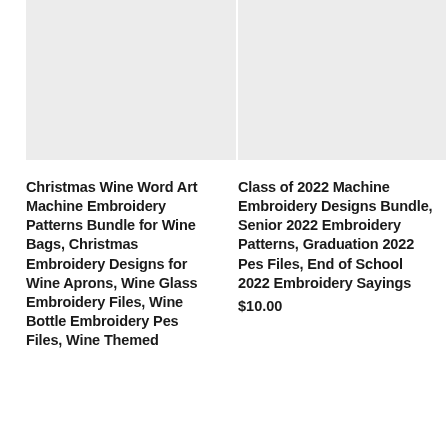[Figure (photo): Product image placeholder for Christmas Wine Word Art Machine Embroidery Patterns Bundle (light gray rectangle)]
Christmas Wine Word Art Machine Embroidery Patterns Bundle for Wine Bags, Christmas Embroidery Designs for Wine Aprons, Wine Glass Embroidery Files, Wine Bottle Embroidery Pes Files, Wine Themed
[Figure (photo): Product image placeholder for Class of 2022 Machine Embroidery Designs Bundle (light gray rectangle)]
Class of 2022 Machine Embroidery Designs Bundle, Senior 2022 Embroidery Patterns, Graduation 2022 Pes Files, End of School 2022 Embroidery Sayings
$10.00